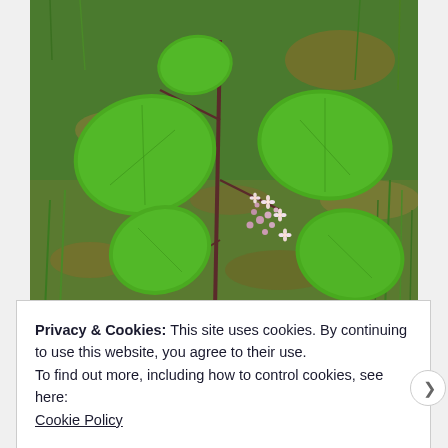[Figure (photo): Close-up photograph of a plant with large green heart-shaped leaves and small pink/white flower clusters, set against a background of grass and dried leaves.]
Privacy & Cookies: This site uses cookies. By continuing to use this website, you agree to their use.
To find out more, including how to control cookies, see here:
Cookie Policy
Close and accept